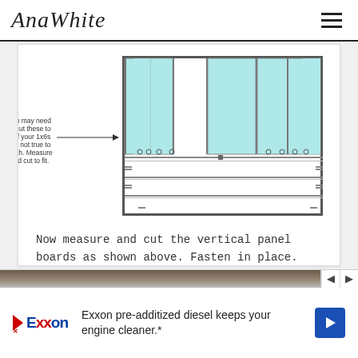AnaWhite
[Figure (engineering-diagram): Front-view technical diagram of a bookcase/shelving unit showing vertical panel boards with teal/light-blue upper cabinet sections, horizontal shelf boards, and screw/nail detail marks. An annotation arrow points to the top panels with text: 'You may need to cut these to fit if your 1x6s are not true to width. Measure and cut to fit.']
Now measure and cut the vertical panel boards as shown above. Fasten in place. From the leg, attach the panel board with 1 1/4" finish nails and glue.
[Figure (photo): Partial photo strip at top of ad banner area, showing a dark/brown textured surface, with navigation prev/next arrows on right.]
Exxon pre-additized diesel keeps your engine cleaner.*